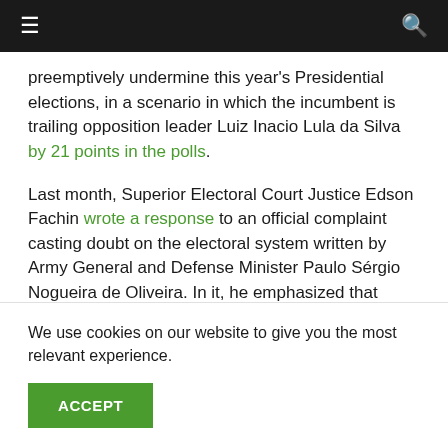≡  [navigation bar]  🔍
preemptively undermine this year's Presidential elections, in a scenario in which the incumbent is trailing opposition leader Luiz Inacio Lula da Silva by 21 points in the polls.

Last month, Superior Electoral Court Justice Edson Fachin wrote a response to an official complaint casting doubt on the electoral system written by Army General and Defense Minister Paulo Sérgio Nogueira de Oliveira. In it, he emphasized that while the 7 suggestions in the complaint are welcome, some of them – for example, guaranteeing that a team of cyber security specialists
We use cookies on our website to give you the most relevant experience.